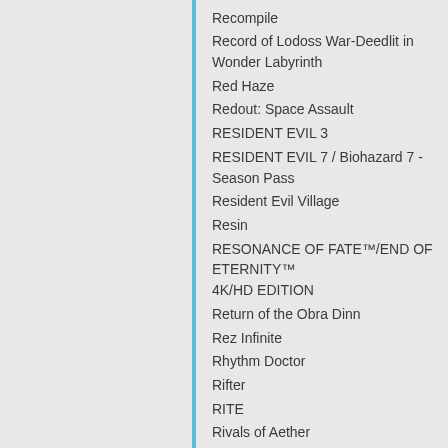Recompile
Record of Lodoss War-Deedlit in Wonder Labyrinth
Red Haze
Redout: Space Assault
RESIDENT EVIL 3
RESIDENT EVIL 7 / Biohazard 7 - Season Pass
Resident Evil Village
Resin
RESONANCE OF FATE™/END OF ETERNITY™ 4K/HD EDITION
Return of the Obra Dinn
Rez Infinite
Rhythm Doctor
Rifter
RITE
Rivals of Aether
Road 96
Rodina
Rogue Legacy 2
Rokh
Rosenkreuzstilette Freudenstachel
Rush Rover Deluxe Edition